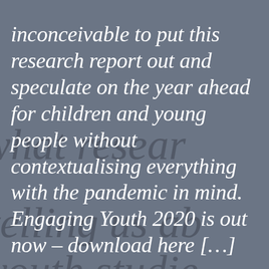[Figure (photo): A blurred background of printed text in dark italic serif font on a grey surface, partially visible behind white overlay text. Background words include fragments like 'what research', 'telling us ab', 'youth studie'.]
inconceivable to put this research report out and speculate on the year ahead for children and young people without contextualising everything with the pandemic in mind. Engaging Youth 2020 is out now – download here […]